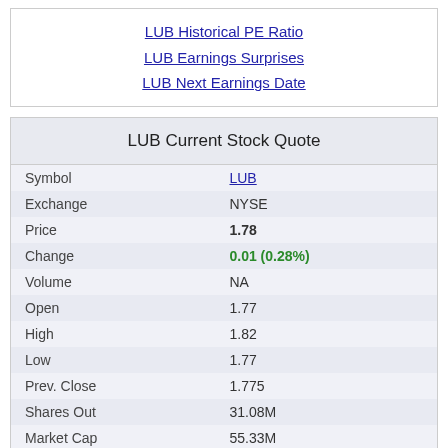LUB Historical PE Ratio
LUB Earnings Surprises
LUB Next Earnings Date
LUB Current Stock Quote
|  |  |
| --- | --- |
| Symbol | LUB |
| Exchange | NYSE |
| Price | 1.78 |
| Change | 0.01 (0.28%) |
| Volume | NA |
| Open | 1.77 |
| High | 1.82 |
| Low | 1.77 |
| Prev. Close | 1.775 |
| Shares Out | 31.08M |
| Market Cap | 55.33M |
| Div Yield | 0.00 |
| Ex-Div | NA |
Quotes delayed 20 minutes
Free LUB Email Alerts: